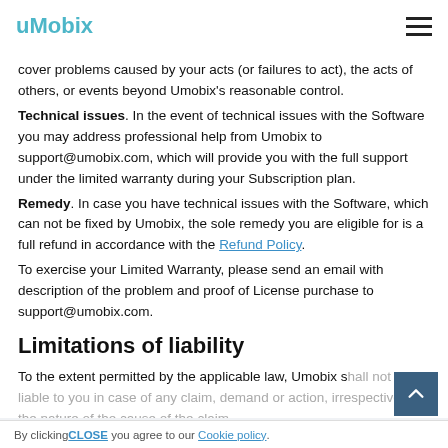uMobix
cover problems caused by your acts (or failures to act), the acts of others, or events beyond Umobix's reasonable control.
Technical issues. In the event of technical issues with the Software you may address professional help from Umobix to support@umobix.com, which will provide you with the full support under the limited warranty during your Subscription plan.
Remedy. In case you have technical issues with the Software, which can not be fixed by Umobix, the sole remedy you are eligible for is a full refund in accordance with the Refund Policy.
To exercise your Limited Warranty, please send an email with description of the problem and proof of License purchase to support@umobix.com.
Limitations of liability
To the extent permitted by the applicable law, Umobix shall not be liable to you in case of any claim, demand or action, irrespective of the nature of the cause of the claim,
By clicking CLOSE you agree to our Cookie policy.